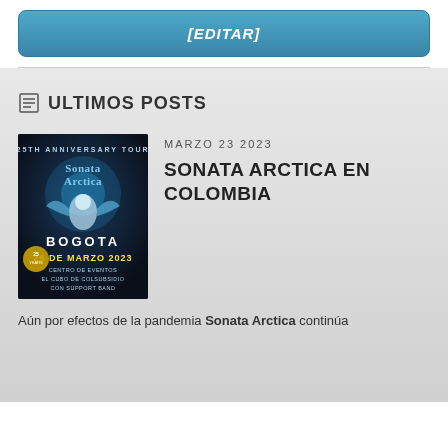[EDITAR]
ULTIMOS POSTS
[Figure (illustration): Concert poster for Sonata Arctica 25th Anniversary Tour, Bogota, March 26 2023, dark blue mystical design]
MARZO 23 2023
SONATA ARCTICA EN COLOMBIA
Aún por efectos de la pandemia Sonata Arctica continúa